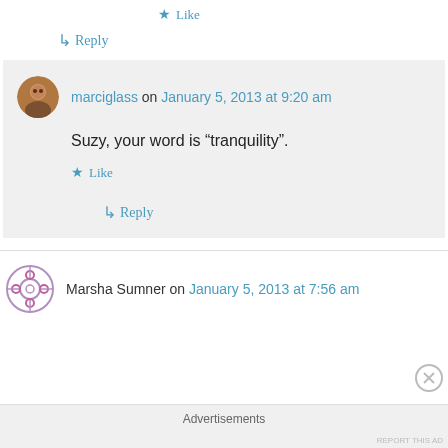Like
↳ Reply
marciglass on January 5, 2013 at 9:20 am
Suzy, your word is “tranquility”.
Like
↳ Reply
Marsha Sumner on January 5, 2013 at 7:56 am
Advertisements